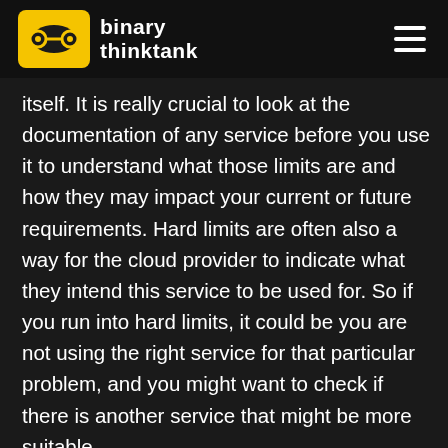binary thinktank
itself. It is really crucial to look at the documentation of any service before you use it to understand what those limits are and how they may impact your current or future requirements. Hard limits are often also a way for the cloud provider to indicate what they intend this service to be used for. So if you run into hard limits, it could be you are not using the right service for that particular problem, and you might want to check if there is another service that might be more suitable.
To go deeper on this topic and to read many more related topics about Serverless Architecture please